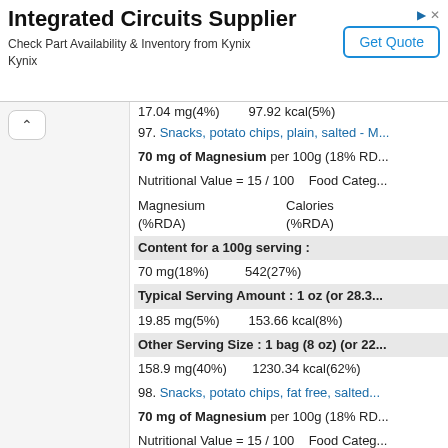[Figure (other): Advertisement banner for Integrated Circuits Supplier - Kynix, with Get Quote button]
17.04 mg(4%)   97.92 kcal(5%)
97. Snacks, potato chips, plain, salted - M...
70 mg of Magnesium per 100g (18% RD...)
Nutritional Value = 15 / 100   Food Categ...
| Magnesium (%RDA) | Calories (%RDA) |
| --- | --- |
Content for a 100g serving :
70 mg(18%)   542(27%)
Typical Serving Amount : 1 oz (or 28.3...
19.85 mg(5%)   153.66 kcal(8%)
Other Serving Size : 1 bag (8 oz) (or 22...
158.9 mg(40%)   1230.34 kcal(62%)
98. Snacks, potato chips, fat free, salted...
70 mg of Magnesium per 100g (18% RD...)
Nutritional Value = 15 / 100   Food Categ...
| Magnesium (%RDA) | Calories (%RDA) |
| --- | --- |
Content for a 100g serving :
70 mg(18%)   379(19%)
Typical Serving Amount : 1 oz (or 28.3...
19.85 mg(5%)   107.45 kcal(5%)